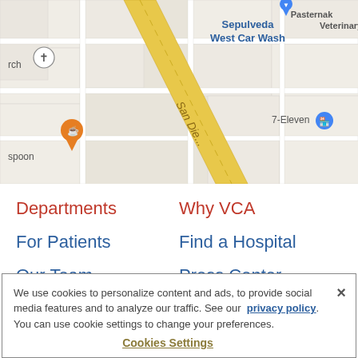[Figure (screenshot): Google Maps screenshot showing street map with San Diego road (diagonal yellow road), Sepulveda West Car Wash label, Pasternak Veterinary Center pin, a church pin, a spoon/restaurant pin (orange), and 7-Eleven label with icon.]
Departments
Why VCA
For Patients
Find a Hospital
Our Team
Press Center
For Veterinarians
Careers
Contact Us
AdChoices
We use cookies to personalize content and ads, to provide social media features and to analyze our traffic. See our privacy policy. You can use cookie settings to change your preferences.
Cookies Settings